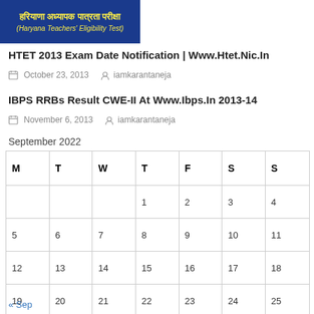[Figure (logo): HTET (Haryana Teachers Eligibility Test) logo with Hindi text and yellow text on blue background]
HTET 2013 Exam Date Notification | Www.Htet.Nic.In
October 23, 2013   iamkarantaneja
IBPS RRBs Result CWE-II At Www.Ibps.In 2013-14
November 6, 2013   iamkarantaneja
September 2022
| M | T | W | T | F | S | S |
| --- | --- | --- | --- | --- | --- | --- |
|  |  |  | 1 | 2 | 3 | 4 |
| 5 | 6 | 7 | 8 | 9 | 10 | 11 |
| 12 | 13 | 14 | 15 | 16 | 17 | 18 |
| 19 | 20 | 21 | 22 | 23 | 24 | 25 |
| 26 | 27 | 28 | 29 | 30 |  |  |
« Sep